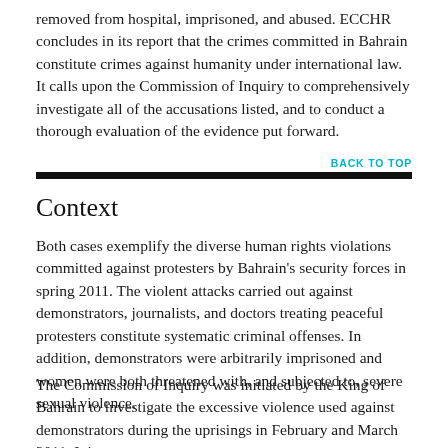removed from hospital, imprisoned, and abused. ECCHR concludes in its report that the crimes committed in Bahrain constitute crimes against humanity under international law. It calls upon the Commission of Inquiry to comprehensively investigate all of the accusations listed, and to conduct a thorough evaluation of the evidence put forward.
BACK TO TOP
Context
Both cases exemplify the diverse human rights violations committed against protesters by Bahrain's security forces in spring 2011. The violent attacks carried out against demonstrators, journalists, and doctors treating peaceful protesters constitute systematic criminal offenses. In addition, demonstrators were arbitrarily imprisoned and women were both threatened with, and subjected to, severe sexual violence.
The Commission of Inquiry was initiated by the King of Bahrain to investigate the excessive violence used against demonstrators during the uprisings in February and March 2011. It is